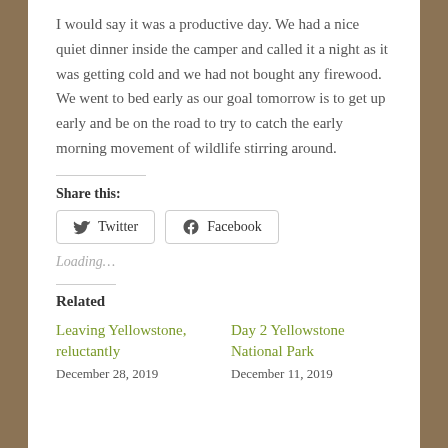I would say it was a productive day. We had a nice quiet dinner inside the camper and called it a night as it was getting cold and we had not bought any firewood.  We went to bed early as our goal tomorrow is to get up early and be on the road to try to catch the early morning movement of wildlife stirring around.
Share this:
Twitter  Facebook
Loading…
Related
Leaving Yellowstone, reluctantly
December 28, 2019
Day 2 Yellowstone National Park
December 11, 2019